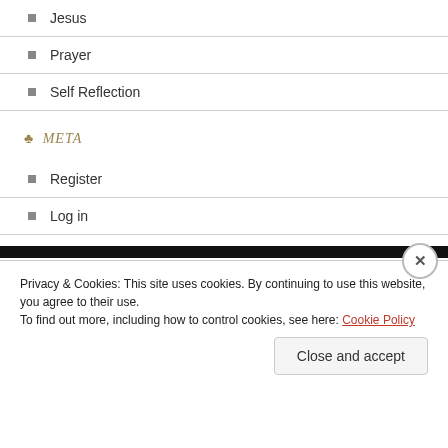Jesus
Prayer
Self Reflection
META
Register
Log in
Entries feed
Comments feed
WordPress.com
Privacy & Cookies: This site uses cookies. By continuing to use this website, you agree to their use.
To find out more, including how to control cookies, see here: Cookie Policy
Close and accept